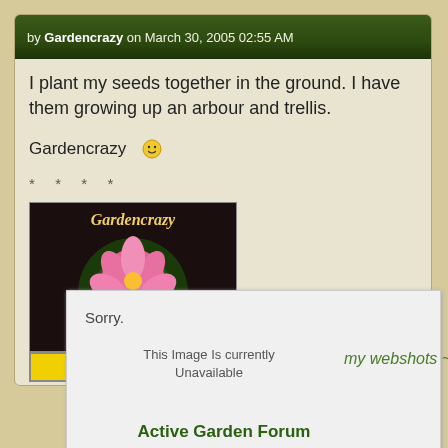by Gardencrazy on March 30, 2005 02:55 AM
I plant my seeds together in the ground. I have them growing up an arbour and trellis.
Gardencrazy 🙂
* * * *
[Figure (photo): Avatar image showing a pink water lily flower with the text 'Gardencrazy' in cursive script, dark background]
500 Posts
[Figure (screenshot): Photobucket broken image placeholder showing 'Sorry. This Image Is currently Unavailable' with photobucket logo footer]
my webshots ~ my photobucket
Active Garden Forum